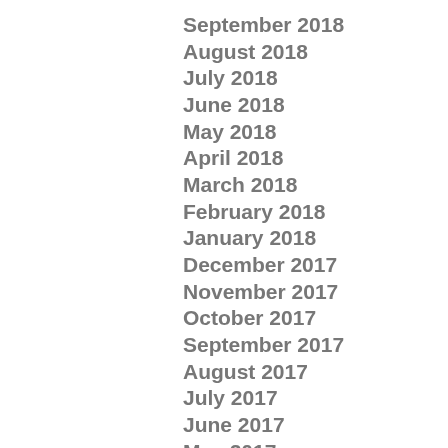September 2018
August 2018
July 2018
June 2018
May 2018
April 2018
March 2018
February 2018
January 2018
December 2017
November 2017
October 2017
September 2017
August 2017
July 2017
June 2017
May 2017
April 2017
March 2017
February 2017